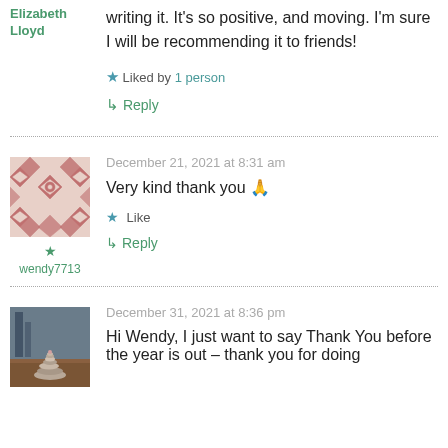writing it. It's so positive, and moving. I'm sure I will be recommending it to friends!
Elizabeth Lloyd
★ Liked by 1 person
↳ Reply
December 21, 2021 at 8:31 am
Very kind thank you 🙏
★ Like
↳ Reply
wendy7713
December 31, 2021 at 8:36 pm
Hi Wendy, I just want to say Thank You before the year is out – thank you for doing